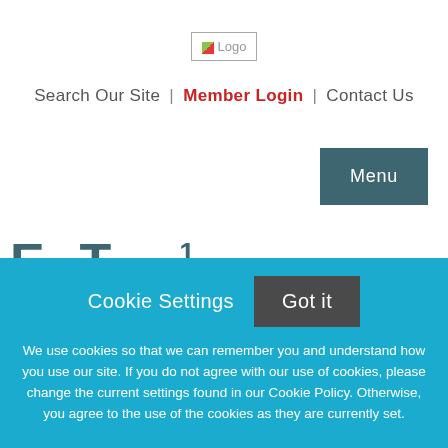[Figure (logo): Website logo image placeholder labeled 'Logo']
Search Our Site | Member Login | Contact Us
[Figure (other): Menu button — dark teal rectangular button with text 'Menu']
We use cookies so that we can remember you and understand how you use our site. If you do not agree with our use of cookies, please change the current settings found in our Cookie Policy. Otherwise, you agree to the use of the cookies as they are currently set.